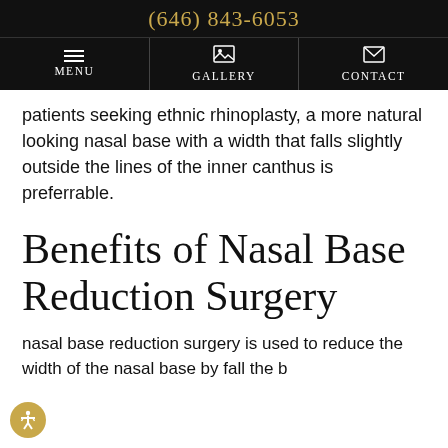(646) 843-6053
Menu Gallery Contact
patients seeking ethnic rhinoplasty, a more natural looking nasal base with a width that falls slightly outside the lines of the inner canthus is preferrable.
Benefits of Nasal Base Reduction Surgery
nasal base reduction surgery is used to reduce the width of the nasal base by fall the b...